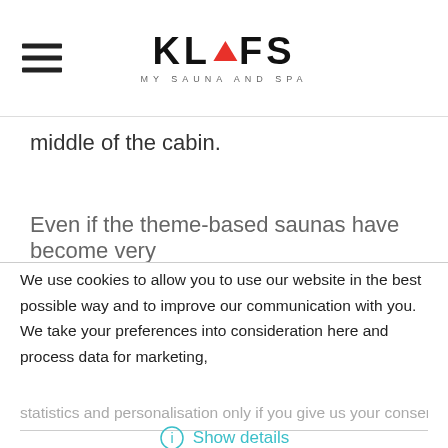KLAFS MY SAUNA AND SPA
middle of the cabin.
Even if the theme-based saunas have become very
We use cookies to allow you to use our website in the best possible way and to improve our communication with you. We take your preferences into consideration here and process data for marketing, statistics and personalisation only if you give us your consent by clicking
Show details
Agree